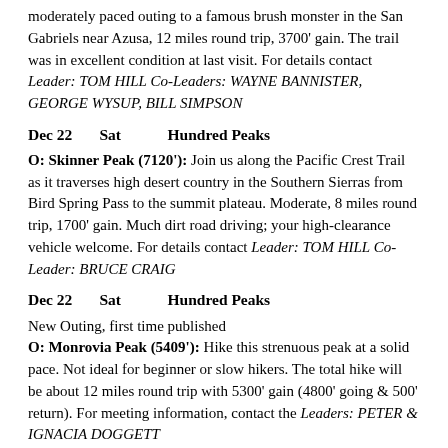moderately paced outing to a famous brush monster in the San Gabriels near Azusa, 12 miles round trip, 3700' gain. The trail was in excellent condition at last visit. For details contact Leader: TOM HILL Co-Leaders: WAYNE BANNISTER, GEORGE WYSUP, BILL SIMPSON
Dec 22    Sat    Hundred Peaks
O: Skinner Peak (7120'): Join us along the Pacific Crest Trail as it traverses high desert country in the Southern Sierras from Bird Spring Pass to the summit plateau. Moderate, 8 miles round trip, 1700' gain. Much dirt road driving; your high-clearance vehicle welcome. For details contact Leader: TOM HILL Co-Leader: BRUCE CRAIG
Dec 22    Sat    Hundred Peaks
New Outing, first time published
O: Monrovia Peak (5409'): Hike this strenuous peak at a solid pace. Not ideal for beginner or slow hikers. The total hike will be about 12 miles round trip with 5300' gain (4800' going & 500' return). For meeting information, contact the Leaders: PETER & IGNACIA DOGGETT
Dec 27    Thu    Hundred Peaks